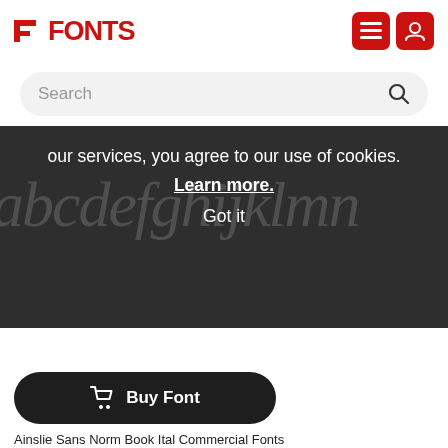FONTS
Search
our services, you agree to our use of cookies. Learn more. Got it
[Figure (screenshot): Italic font preview showing 'abcdefghijklm' in large dark italic letters]
[Figure (other): Buy Font button — dark rounded pill button with shopping cart icon and text 'Buy Font']
Ainslie Sans Norm Book Ital Commercial Fonts